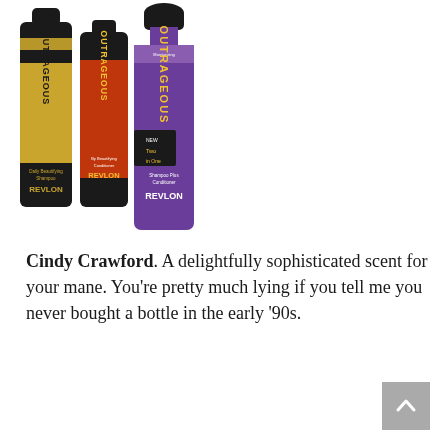[Figure (photo): Three Revlon Outrageous hair product bottles: a gold/black daily beautifying shampoo, a red/black beautifying conditioner, and a purple/black New Two in One Shampoo Plus Conditioner bottle in front.]
Cindy Crawford. A delightfully sophisticated scent for your mane. You're pretty much lying if you tell me you never bought a bottle in the early '90s.